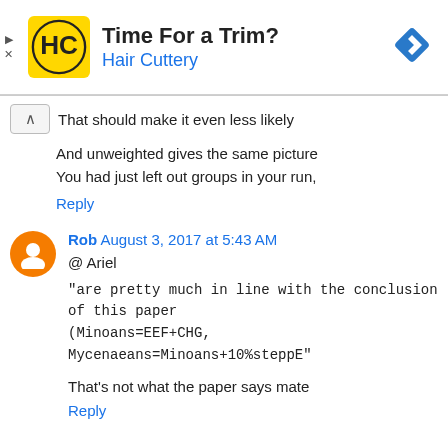[Figure (infographic): Hair Cuttery advertisement banner with yellow logo, title 'Time For a Trim?', subtitle 'Hair Cuttery', and blue navigation arrow icon on the right.]
That should make it even less likely
And unweighted gives the same picture
You had just left out groups in your run,
Reply
Rob August 3, 2017 at 5:43 AM
@ Ariel
"are pretty much in line with the conclusion of this paper (Minoans=EEF+CHG, Mycenaeans=Minoans+10%steppE"
That's not what the paper says mate
Reply